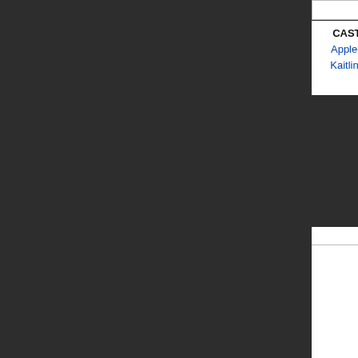Vacation
CAST: John Francis Daley, Chris Hemsworth, Elizabeth Gillies, Leslie Mann, Christina Applegate, Ed Helms, Skyler Gisondo, Chevy Chase, Michael Peña, Beverly D'Angelo, Kaitlin Olson, Charlie Day, Keegan-Michael Key, Regina Hall, Nick Kroll, Samm Levine, Steele Stebbins,
YEAR: 2015
[Figure (photo): Movie poster for 'They Came Together' showing Paul Rudd and Amy Poehler]
They Came Together
CAST: David Wain, Cobie Smulders, Paul Rudd, Michael Shannon, Christopher Meloni, Amy Poehler, Melanie Lynskey, Noureen DeWulf, Max Greenfield, Ed Helms, Michaela Watkins, Jason Mantzoukas, Lynn Cohen, Michael Ian Black, Randall Park, Barbara Vincent, Teyonah Parris,
YEAR: 2014
CAST: Fe... Helgenberg... Stanton, S... Hunt, Ri...